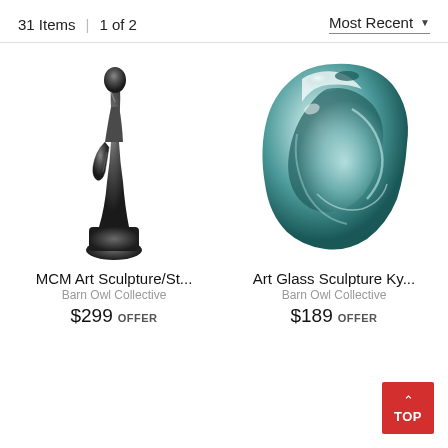31 Items | 1 of 2   Most Recent ▼
[Figure (photo): Dark metallic figurine sculpture of a seated/crouching human figure, bronze-like finish]
MCM Art Sculpture/St...
Barn Owl Collective
$299 OFFER
[Figure (photo): Teal/green art glass sculpture with fluid organic form, glossy reflective surface]
Art Glass Sculpture Ky...
Barn Owl Collective
$189 OFFER
↑ TOP